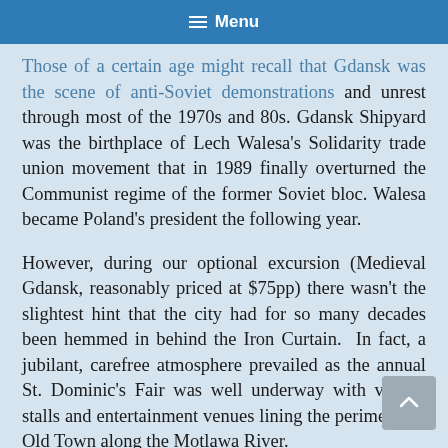Menu
Those of a certain age might recall that Gdansk was the scene of anti-Soviet demonstrations and unrest through most of the 1970s and 80s. Gdansk Shipyard was the birthplace of Lech Walesa's Solidarity trade union movement that in 1989 finally overturned the Communist regime of the former Soviet bloc. Walesa became Poland's president the following year.
However, during our optional excursion (Medieval Gdansk, reasonably priced at $75pp) there wasn't the slightest hint that the city had for so many decades been hemmed in behind the Iron Curtain.  In fact, a jubilant, carefree atmosphere prevailed as the annual St. Dominic's Fair was well underway with vendor stalls and entertainment venues lining the perimeter of Old Town along the Motlawa River.
Our first stop was the Blue Lion Archaeological Education Centre, a museum of sorts housed in